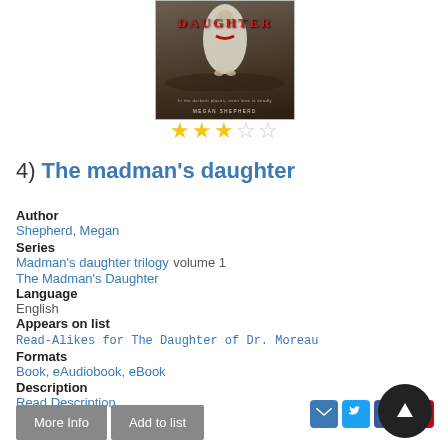[Figure (photo): Book cover of 'The Madman's Daughter' by Megan Shepherd showing a figure in white clothing, with red title text and dark muted background]
[Figure (other): 3 filled yellow stars and 2 empty grey stars rating display]
4)  The madman's daughter
Author
Shepherd, Megan
Series
Madman's daughter trilogy volume 1
The Madman's Daughter
Language
English
Appears on list
Read-Alikes for The Daughter of Dr. Moreau
Formats
Book, eAudiobook, eBook
Description
Read Description